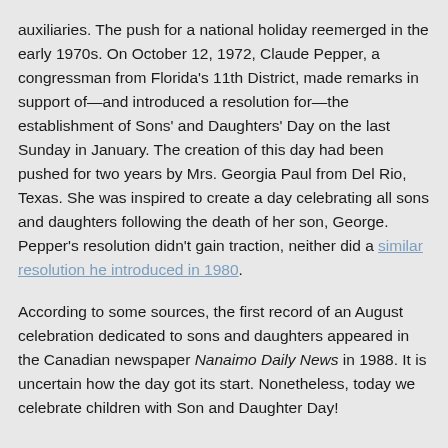auxiliaries. The push for a national holiday reemerged in the early 1970s. On October 12, 1972, Claude Pepper, a congressman from Florida's 11th District, made remarks in support of—and introduced a resolution for—the establishment of Sons' and Daughters' Day on the last Sunday in January. The creation of this day had been pushed for two years by Mrs. Georgia Paul from Del Rio, Texas. She was inspired to create a day celebrating all sons and daughters following the death of her son, George. Pepper's resolution didn't gain traction, neither did a similar resolution he introduced in 1980.
According to some sources, the first record of an August celebration dedicated to sons and daughters appeared in the Canadian newspaper Nanaimo Daily News in 1988. It is uncertain how the day got its start. Nonetheless, today we celebrate children with Son and Daughter Day!